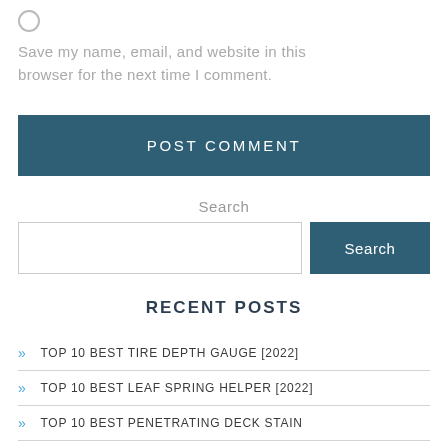o
Save my name, email, and website in this browser for the next time I comment.
POST COMMENT
Search
Search
RECENT POSTS
» TOP 10 BEST TIRE DEPTH GAUGE [2022]
» TOP 10 BEST LEAF SPRING HELPER [2022]
» TOP 10 BEST PENETRATING DECK STAIN